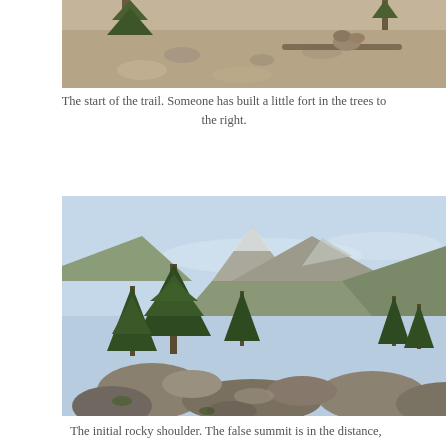[Figure (photo): Top portion of a trail photo showing a ground-level view of a dirt trail with rocks and logs, a small fort built from rocks visible among trees]
The start of the trail. Someone has built a little fort in the trees to the right.
[Figure (photo): Mountain landscape photo showing a rocky trail in the foreground, tall evergreen trees on the left, and a rugged mountain with snow patches and a false summit visible in the distance under a blue sky]
The initial rocky shoulder. The false summit is in the distance, the deep end by the close. The other peak is the high point of